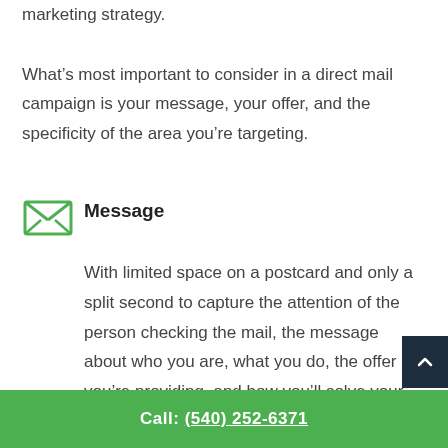marketing strategy.
What's most important to consider in a direct mail campaign is your message, your offer, and the specificity of the area you're targeting.
Message
[Figure (illustration): Green envelope icon with X cross pattern on the flap]
With limited space on a postcard and only a split second to capture the attention of the person checking the mail, the message about who you are, what you do, the offer you're providing, and how you'll solve your customers problems needs to be succinct and razor sharp.
Call: (540) 252-6371